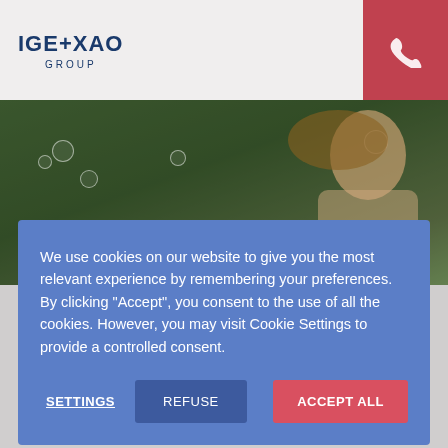[Figure (screenshot): IGE+XAO Group logo in top-left header area]
Menu
[Figure (photo): Hero banner photo of a smiling woman with trees in the background, with bubble decorations]
Frequently Asked Questions.
We use cookies on our website to give you the most relevant experience by remembering your preferences. By clicking “Accept”, you consent to the use of all the cookies. However, you may visit Cookie Settings to provide a controlled consent.
SETTINGS
REFUSE
ACCEPT ALL
Search
ok